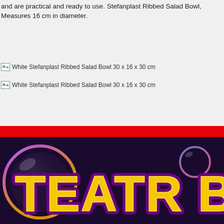and are practical and ready to use. Stefanplast Ribbed Salad Bowl, Measures 16 cm in diameter.
[Figure (photo): Broken image placeholder: White Stefanplast Ribbed Salad Bowl 30 x 16 x 30 cm]
[Figure (photo): Broken image placeholder: White Stefanplast Ribbed Salad Bowl 30 x 16 x 30 cm]
[Figure (photo): Colorful 'TEATR BA' text logo on dark background with bubbles, in yellow with purple outline]